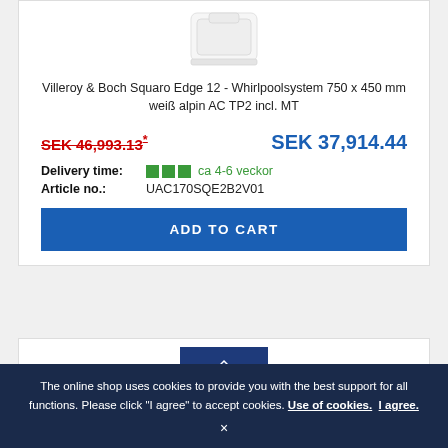[Figure (photo): White whirlpool bathtub product image (cropped, top portion visible)]
Villeroy & Boch Squaro Edge 12 - Whirlpoolsystem 750 x 450 mm weiß alpin AC TP2 incl. MT
SEK 46,993.13* [strikethrough/old price]   SEK 37,914.44 [new price]
Delivery time: ca 4-6 veckor
Article no.: UAC170SQE2B2V01
ADD TO CART
[Figure (logo): Villeroy & Boch logo on dark blue background]
-19%
The online shop uses cookies to provide you with the best support for all functions. Please click "I agree" to accept cookies. Use of cookies. I agree. ×